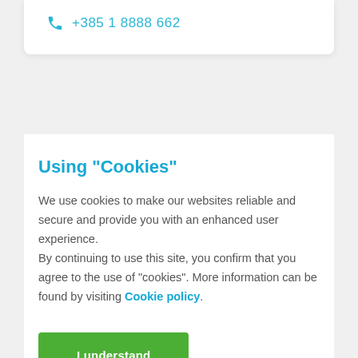+385 1 8888 662
Using "Cookies"
We use cookies to make our websites reliable and secure and provide you with an enhanced user experience.
By continuing to use this site, you confirm that you agree to the use of "cookies". More information can be found by visiting Cookie policy.